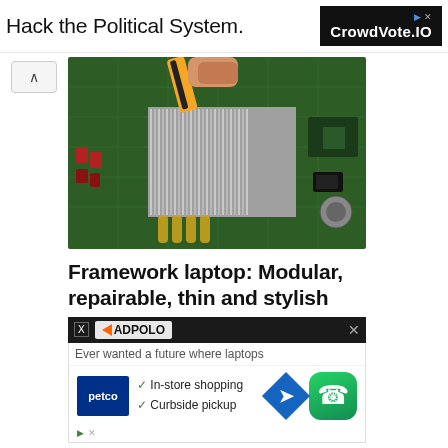Hack the Political System.
[Figure (logo): CrowdVote.IO advertisement banner on dark background]
[Figure (photo): Hands using a screwdriver on a laptop or computer motherboard with heatsink, showing hardware repair]
Framework laptop: Modular, repairable, thin and stylish
[Figure (other): AdPolo overlay ad with X close button and partial article text 'Ever wanted a future where laptops']
[Figure (infographic): Petco ad popup with checkmarks for In-store shopping and Curbside pickup, navigation diamond icon, and WhatsApp button]
Ever wanted a future where laptops
In-store shopping
Curbside pickup